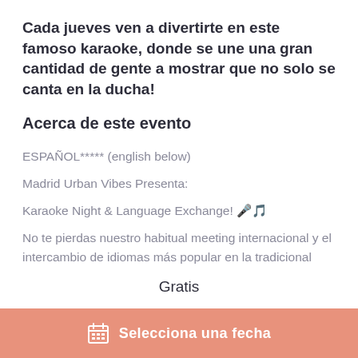Cada jueves ven a divertirte en este famoso karaoke, donde se une una gran cantidad de gente a mostrar que no solo se canta en la ducha!
Acerca de este evento
ESPAÑOL***** (english below)
Madrid Urban Vibes Presenta:
Karaoke Night & Language Exchange! 🎤🎵
No te pierdas nuestro habitual meeting internacional y el intercambio de idiomas más popular en la tradicional zona de Tribunal (Malasaña/Chueca) para conectar
Gratis
Selecciona una fecha